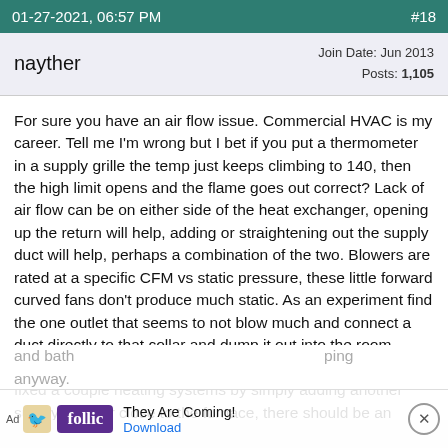01-27-2021, 06:57 PM   #18
nayther
Join Date: Jun 2013
Posts: 1,105
For sure you have an air flow issue. Commercial HVAC is my career. Tell me I'm wrong but I bet if you put a thermometer in a supply grille the temp just keeps climbing to 140, then the high limit opens and the flame goes out correct? Lack of air flow can be on either side of the heat exchanger, opening up the return will help, adding or straightening out the supply duct will help, perhaps a combination of the two. Blowers are rated at a specific CFM vs static pressure, these little forward curved fans don't produce much static. As an experiment find the one outlet that seems to not blow much and connect a duct directly to that collar and dump it out into the room (short as possible). Then remeasure your temp. rise. I've fixed a couple heating systems by simply adding another supply register close to the furnace, there should be an unused knockout or two in the supply plenum, or cut your own. Any 4" start collar will work to connect the flex to the plenum. We get next to no air in our bedroom and bath...